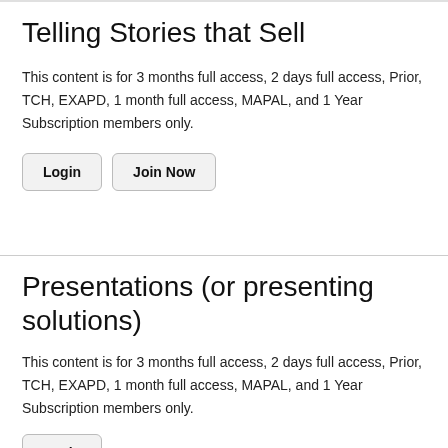Telling Stories that Sell
This content is for 3 months full access, 2 days full access, Prior, TCH, EXAPD, 1 month full access, MAPAL, and 1 Year Subscription members only.
Login
Join Now
Presentations (or presenting solutions)
This content is for 3 months full access, 2 days full access, Prior, TCH, EXAPD, 1 month full access, MAPAL, and 1 Year Subscription members only.